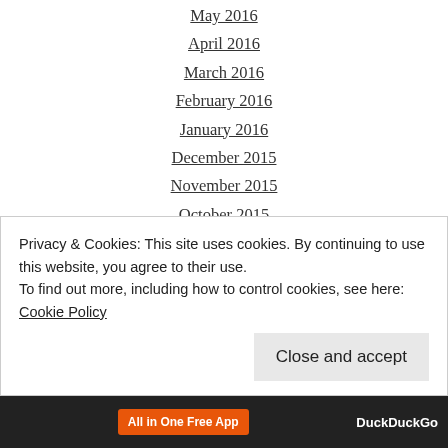May 2016
April 2016
March 2016
February 2016
January 2016
December 2015
November 2015
October 2015
September 2015
August 2015
July 2015
June 2015
May 2015
April 2015
Privacy & Cookies: This site uses cookies. By continuing to use this website, you agree to their use.
To find out more, including how to control cookies, see here: Cookie Policy
Close and accept